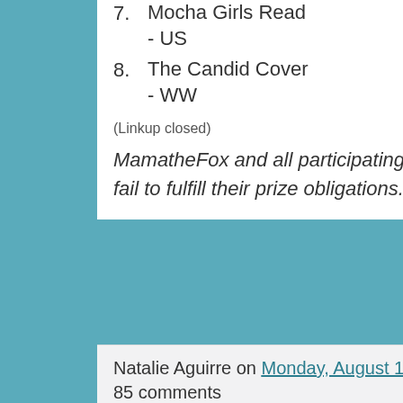7. Mocha Girls Read - US
15. Miss Molly Says - US
8. The Candid Cover - WW
16. Susie's Reviews - US/CAN
(Linkup closed)
MamatheFox and all participating blogs are not held responsible for sponsors who fail to fulfill their prize obligations.
Natalie Aguirre on Monday, August 16, 2021
85 comments
Debut Author Interview: Christyne Morrell and Kingdom of Secrets Giveaway